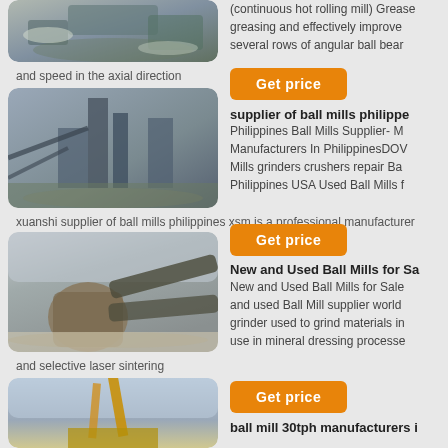[Figure (photo): Aerial view of mining/crushing plant with snow]
and speed in the axial direction
[Figure (photo): Industrial plant with conveyor belts and structures]
xuanshi supplier of ball mills philippines xsm is a professional manufacturer
[Figure (other): Get price button orange]
supplier of ball mills philippines
Philippines Ball Mills Supplier- M Manufacturers In PhilippinesDOW Mills grinders crushers repair Ba Philippines USA Used Ball Mills f
[Figure (other): Get price button orange]
[Figure (photo): Crushing and screening plant with conveyor belts]
and selective laser sintering
New and Used Ball Mills for Sa
New and Used Ball Mills for Sale and used Ball Mill supplier world grinder used to grind materials in use in mineral dressing processe
[Figure (other): Get price button orange]
[Figure (photo): Heavy equipment/crane against cloudy sky]
ball mill 30tph manufacturers i
(continuous hot rolling mill) Grease greasing and effectively improve several rows of angular ball bear